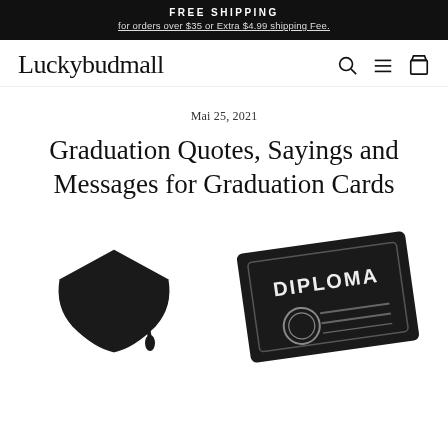FREE SHIPPING
for orders over $35 or Extra $4.99 shipping Fee.
Luckybudmall
Mai 25, 2021
Graduation Quotes, Sayings and Messages for Graduation Cards
[Figure (illustration): Silhouette illustration of a graduation cap on the left and a diploma certificate on the right, both in black.]